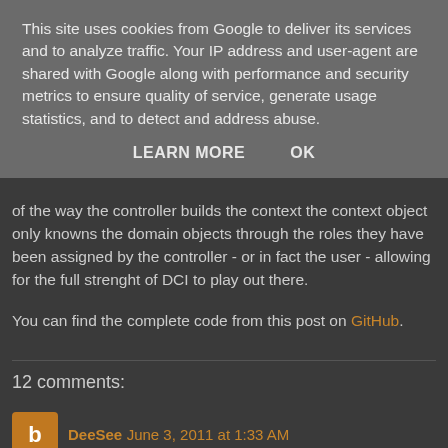This site uses cookies from Google to deliver its services and to analyze traffic. Your IP address and user-agent are shared with Google along with performance and security metrics to ensure quality of service, generate usage statistics, and to detect and address abuse.
LEARN MORE   OK
of the way the controller builds the context the context object only knowns the domain objects through the roles they have been assigned by the controller - or in fact the user - allowing for the full strenght of DCI to play out there.
You can find the complete code from this post on GitHub.
12 comments:
DeeSee June 3, 2011 at 1:33 AM